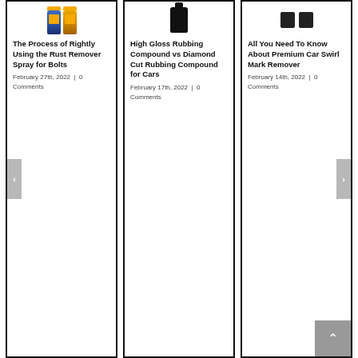[Figure (photo): Two blue spray cans with yellow labels/caps for rust remover product]
The Process of Rightly Using the Rust Remover Spray for Bolts
February 27th, 2022  |  0 Comments
[Figure (photo): One black bottle/container for high gloss rubbing compound product]
High Gloss Rubbing Compound vs Diamond Cut Rubbing Compound for Cars
February 17th, 2022  |  0 Comments
[Figure (photo): Two black tins for premium car swirl mark remover product]
All You Need To Know About Premium Car Swirl Mark Remover
February 14th, 2022  |  0 Comments